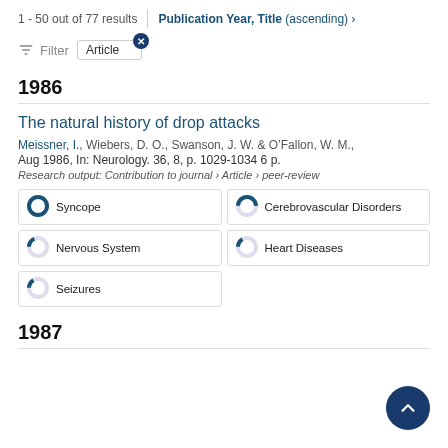1 - 50 out of 77 results | Publication Year, Title (ascending) >
Filter | Article
1986
The natural history of drop attacks
Meissner, I., Wiebers, D. O., Swanson, J. W. & O'Fallon, W. M., Aug 1986, In: Neurology. 36, 8, p. 1029-1034 6 p.
Research output: Contribution to journal › Article › peer-review
Syncope
Cerebrovascular Disorders
Nervous System
Heart Diseases
Seizures
1987